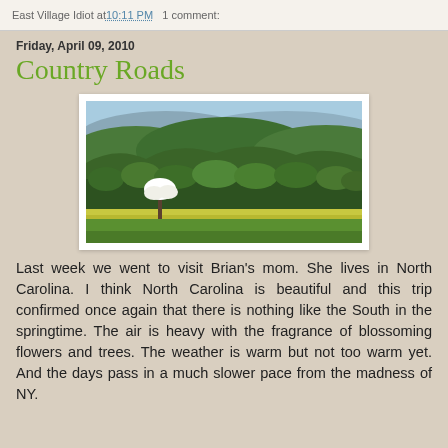East Village Idiot at 10:11 PM   1 comment:
Friday, April 09, 2010
Country Roads
[Figure (photo): Scenic landscape photograph of rolling green mountains under a light blue sky, with a field of yellow wildflowers in the foreground, green trees in the middle ground, and a single flowering white tree (likely dogwood) on the left side.]
Last week we went to visit Brian's mom. She lives in North Carolina. I think North Carolina is beautiful and this trip confirmed once again that there is nothing like the South in the springtime. The air is heavy with the fragrance of blossoming flowers and trees. The weather is warm but not too warm yet. And the days pass in a much slower pace from the madness of NY.